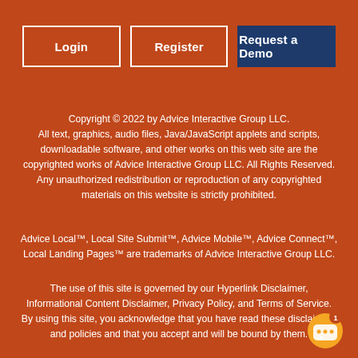Login
Register
Request a Demo
Copyright © 2022 by Advice Interactive Group LLC. All text, graphics, audio files, Java/JavaScript applets and scripts, downloadable software, and other works on this web site are the copyrighted works of Advice Interactive Group LLC. All Rights Reserved. Any unauthorized redistribution or reproduction of any copyrighted materials on this website is strictly prohibited.
Advice Local™, Local Site Submit™, Advice Mobile™, Advice Connect™, Local Landing Pages™ are trademarks of Advice Interactive Group LLC.
The use of this site is governed by our Hyperlink Disclaimer, Informational Content Disclaimer, Privacy Policy, and Terms of Service. By using this site, you acknowledge that you have read these disclaimers and policies and that you accept and will be bound by them.